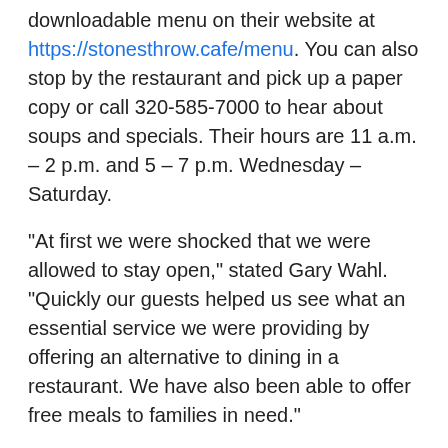downloadable menu on their website at https://stonesthrow.cafe/menu. You can also stop by the restaurant and pick up a paper copy or call 320-585-7000 to hear about soups and specials. Their hours are 11 a.m. – 2 p.m. and 5 – 7 p.m. Wednesday – Saturday.
"At first we were shocked that we were allowed to stay open," stated Gary Wahl. "Quickly our guests helped us see what an essential service we were providing by offering an alternative to dining in a restaurant. We have also been able to offer free meals to families in need."
The staff at Stone's Throw went from three full-time and thirteen part-time to one full-time and six part-time. Several of the staff members were UMM students who left when the college shut down. They have a small staff in the kitchen and front of the house and their baker is working in the restaurant.